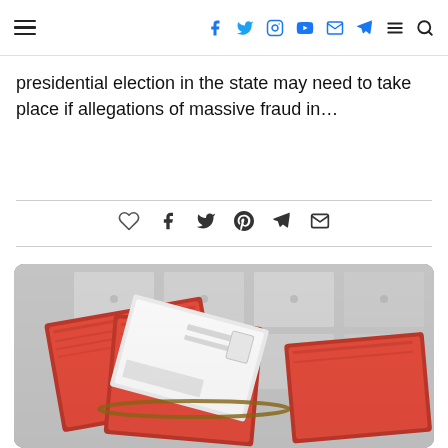Navigation header with hamburger menu and social icons (Facebook, Twitter, Instagram, YouTube, Email, Telegram, Menu, Search)
presidential election in the state may need to take place if allegations of massive fraud in…
[Figure (other): Social sharing bar with heart/like, Facebook, Twitter, Pinterest, Telegram, and Email icons between two horizontal lines]
[Figure (photo): Photo of stacks of red mail-in ballot envelopes bundled together with rubber bands, with blurred filing cabinet boxes in the background]